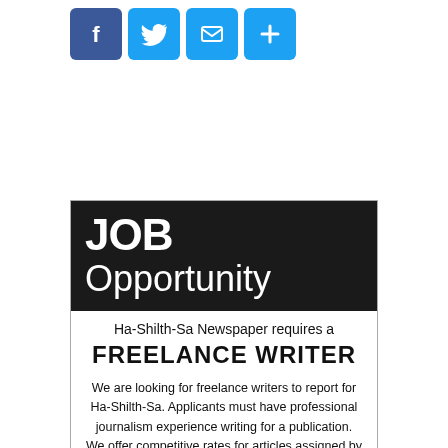[Figure (other): Social media sharing icons: Facebook (blue), Twitter (blue), Mail (blue), Plus/Share (blue)]
[Figure (infographic): Job opportunity advertisement for Ha-Shilth-Sa Newspaper seeking a Freelance Writer. Black header with 'JOB Opportunity', body text describing the role, and a partially visible black footer strip.]
JOB Opportunity
Ha-Shilth-Sa Newspaper requires a
FREELANCE WRITER
We are looking for freelance writers to report for Ha-Shilth-Sa. Applicants must have professional journalism experience writing for a publication. We offer competitive rates for articles assigned by our editor.
To apply send your resume/a...